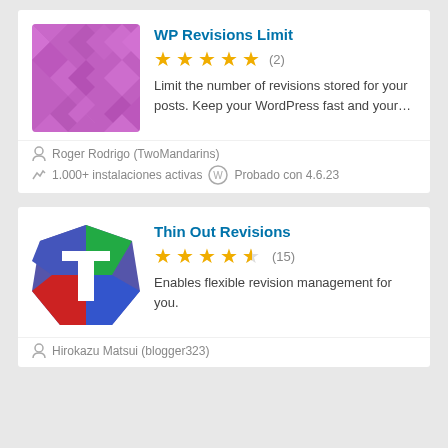WP Revisions Limit
Limit the number of revisions stored for your posts. Keep your WordPress fast and your…
Roger Rodrigo (TwoMandarins)
1.000+ instalaciones activas   Probado con 4.6.23
Thin Out Revisions
Enables flexible revision management for you.
Hirokazu Matsui (blogger323)